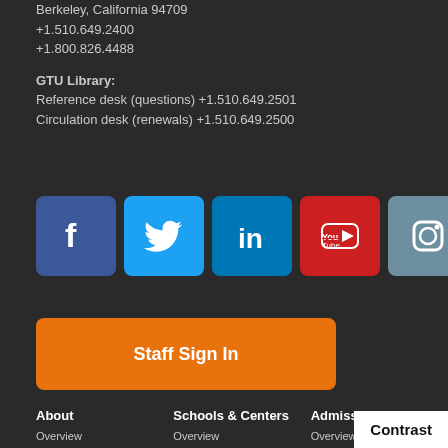Berkeley, California 94709
+1.510.649.2400
+1.800.826.4488
GTU Library:
Reference desk (questions) +1.510.649.2501
Circulation desk (renewals) +1.510.649.2500
[Figure (other): Row of social media icons: Facebook, Twitter, LinkedIn, YouTube, Instagram]
Staff Sign In
About
Overview
Our History
Policies & Administration
Board of Trustees
Schools & Centers
Overview
Member Schools
Academic Centers
Affiliates
Resource Solicitation
Admissions & Aid
Overview
Degree Programs
Financial Aid
Applying to...
Personal Information
Contrast